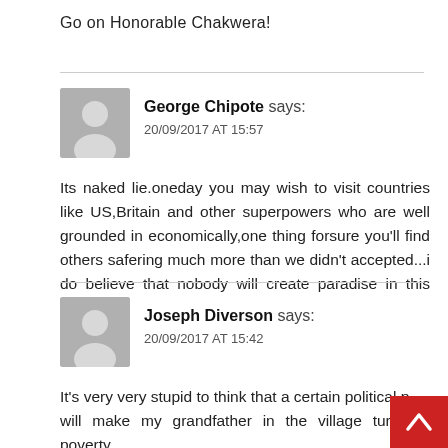Go on Honorable Chakwera!
George Chipote says:
20/09/2017 AT 15:57
Its naked lie.oneday you may wish to visit countries like US,Britain and other superpowers who are well grounded in economically,one thing forsure you'll find others safering much more than we didn't accepted...i do believe that nobody will create paradise in this world.
Joseph Diverson says:
20/09/2017 AT 15:42
It's very very stupid to think that a certain political p... will make my grandfather in the village turn his poverty